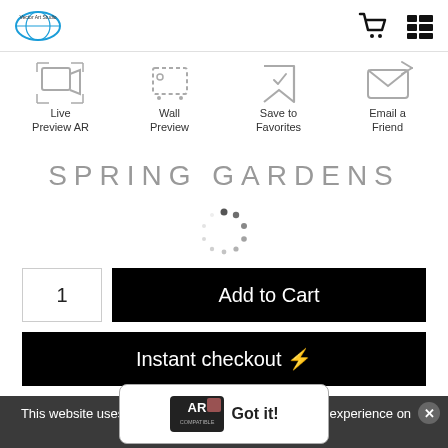Vector Art Studio — header with logo, cart icon, menu icon
[Figure (other): Four action icons: Live Preview AR, Wall Preview, Save to Favorites, Email a Friend]
SPRING GARDENS
[Figure (other): Loading spinner dots circle]
1  Add to Cart
Instant checkout ⚡
This website uses cookies to ensure you get the best experience on our website.
[Figure (other): AR COMPATIBLE badge with Got it! button overlay]